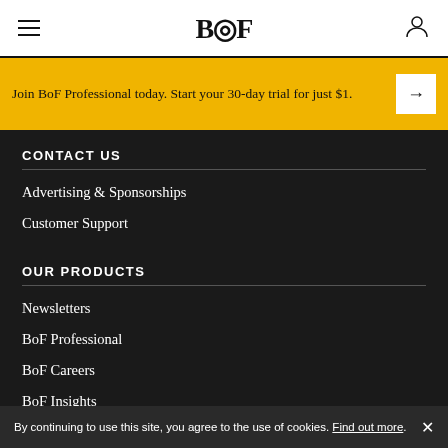BOF
Join BoF Professional today. Start your 30-day trial for just $1.
CONTACT US
Advertising & Sponsorships
Customer Support
OUR PRODUCTS
Newsletters
BoF Professional
BoF Careers
BoF Insights
By continuing to use this site, you agree to the use of cookies. Find out more.